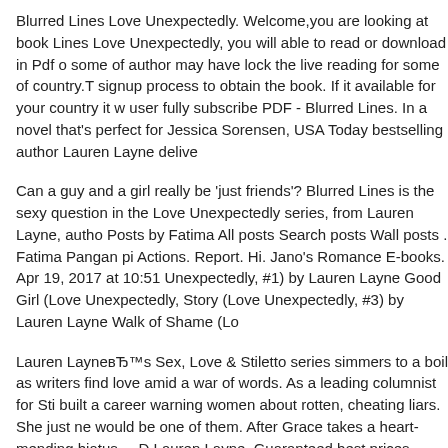Blurred Lines Love Unexpectedly. Welcome,you are looking at book Lines Love Unexpectedly, you will able to read or download in Pdf o some of author may have lock the live reading for some of country.T signup process to obtain the book. If it available for your country it w user fully subscribe PDF - Blurred Lines. In a novel that's perfect for Jessica Sorensen, USA Today bestselling author Lauren Layne delive
Can a guy and a girl really be 'just friends'? Blurred Lines is the sexy question in the Love Unexpectedly series, from Lauren Layne, autho Posts by Fatima All posts Search posts Wall posts . Fatima Pangan pi Actions. Report. Hi. Jano's Romance E-books. Apr 19, 2017 at 10:51 Unexpectedly, #1) by Lauren Layne Good Girl (Love Unexpectedly, Story (Love Unexpectedly, #3) by Lauren Layne Walk of Shame (Lo
Lauren LayneвЂ™s Sex, Love & Stiletto series simmers to a boil as writers find love amid a war of words. As a leading columnist for Sti built a career warning women about rotten, cheating liars. She just ne would be one of them. After Grace takes a heart-mending hiatus,... D Lauren Layne. Guaranteed best prices, direct download!